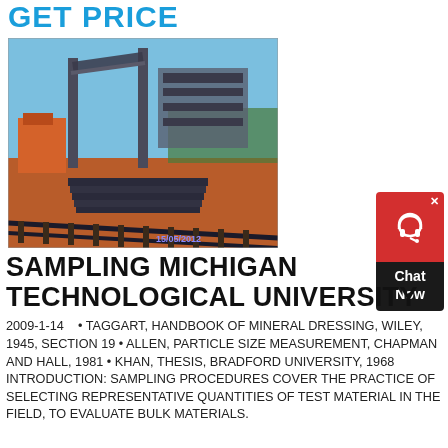GET PRICE
[Figure (photo): Outdoor industrial mining/screening plant facility with conveyor belts, metal structures, and stacked materials on red earth ground. Dated 15/05/2012.]
[Figure (other): Red and dark chat widget button with headset icon and 'Chat Now' label. Close X button at top right.]
SAMPLING MICHIGAN TECHNOLOGICAL UNIVERSITY
2009-1-14    • TAGGART, HANDBOOK OF MINERAL DRESSING, WILEY, 1945, SECTION 19 • ALLEN, PARTICLE SIZE MEASUREMENT, CHAPMAN AND HALL, 1981 • KHAN, THESIS, BRADFORD UNIVERSITY, 1968 INTRODUCTION: SAMPLING PROCEDURES COVER THE PRACTICE OF SELECTING REPRESENTATIVE QUANTITIES OF TEST MATERIAL IN THE FIELD, TO EVALUATE BULK MATERIALS.